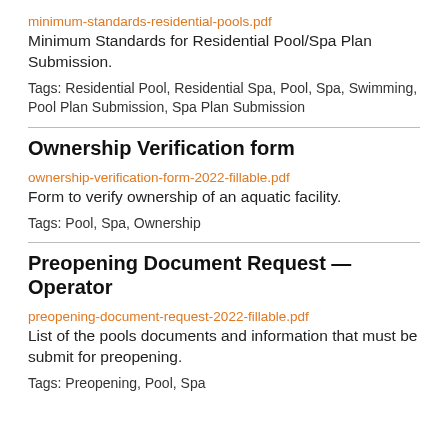minimum-standards-residential-pools.pdf
Minimum Standards for Residential Pool/Spa Plan Submission.
Tags: Residential Pool, Residential Spa, Pool, Spa, Swimming, Pool Plan Submission, Spa Plan Submission
Ownership Verification form
ownership-verification-form-2022-fillable.pdf
Form to verify ownership of an aquatic facility.
Tags: Pool, Spa, Ownership
Preopening Document Request — Operator
preopening-document-request-2022-fillable.pdf
List of the pools documents and information that must be submit for preopening.
Tags: Preopening, Pool, Spa